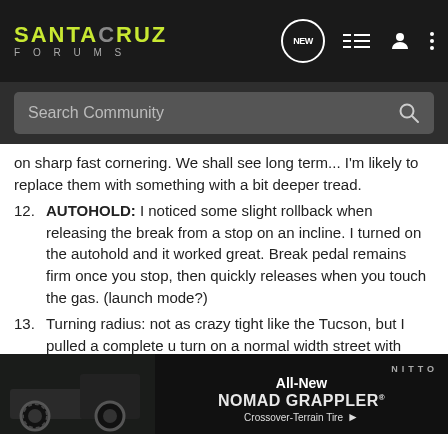SANTA CRUZ FORUMS
Search Community
on sharp fast cornering. We shall see long term... I'm likely to replace them with something with a bit deeper tread.
12. AUTOHOLD: I noticed some slight rollback when releasing the break from a stop on an incline. I turned on the autohold and it worked great. Break pedal remains firm once you stop, then quickly releases when you touch the gas. (launch mode?)
13. Turning radius: not as crazy tight like the Tucson, but I pulled a complete u turn on a normal width street with room to spare.
14. Side view: Only on the limited shows the side view when you turn on the signals... wish this had that.. but side vi
15. R...ack of
[Figure (advertisement): Nitto All-New Nomad Grappler Crossover-Terrain Tire advertisement banner with tire image on dark background]